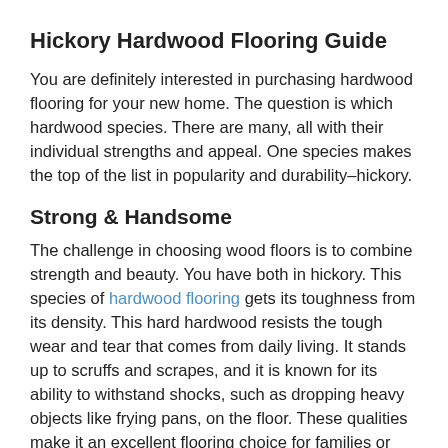Hickory Hardwood Flooring Guide
You are definitely interested in purchasing hardwood flooring for your new home. The question is which hardwood species. There are many, all with their individual strengths and appeal. One species makes the top of the list in popularity and durability–hickory.
Strong & Handsome
The challenge in choosing wood floors is to combine strength and beauty. You have both in hickory. This species of hardwood flooring gets its toughness from its density. This hard hardwood resists the tough wear and tear that comes from daily living. It stands up to scruffs and scrapes, and it is known for its ability to withstand shocks, such as dropping heavy objects like frying pans, on the floor. These qualities make it an excellent flooring choice for families or rooms that receive high traffic.
The good news is the strength does not detract from the beauty of this wood with its gorgeous grain and variations in planks,